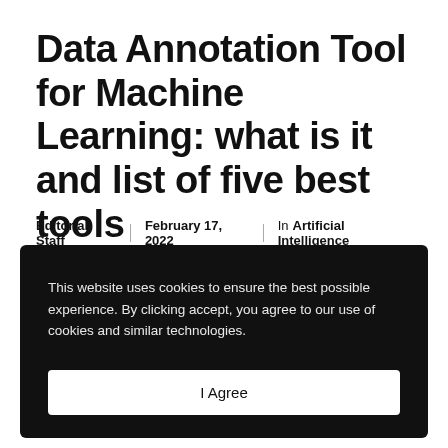Data Annotation Tool for Machine Learning: what is it and list of five best tools
Editorial Staff  |  February 17, 2022  |  In Artificial Intelligence
This website uses cookies to ensure the best possible experience. By clicking accept, you agree to our use of cookies and similar technologies.
I Agree
Privacy Policy